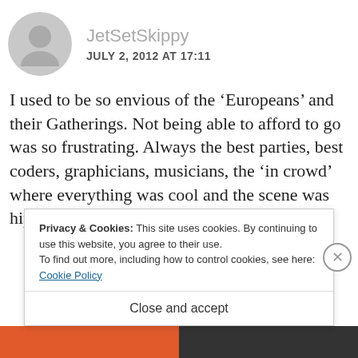JetSetSkippy
JULY 2, 2012 AT 17:11
I used to be so envious of the ‘Europeans’ and their Gatherings. Not being able to afford to go was so frustrating. Always the best parties, best coders, graphicians, musicians, the ‘in crowd’ where everything was cool and the scene was hip n’ happening (in my opinion). The Elites!
Privacy & Cookies: This site uses cookies. By continuing to use this website, you agree to their use.
To find out more, including how to control cookies, see here: Cookie Policy
Close and accept